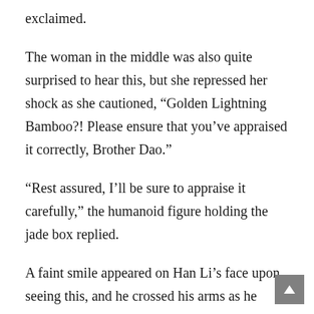exclaimed.
The woman in the middle was also quite surprised to hear this, but she repressed her shock as she cautioned, “Golden Lightning Bamboo?! Please ensure that you’ve appraised it correctly, Brother Dao.”
“Rest assured, I’ll be sure to appraise it carefully,” the humanoid figure holding the jade box replied.
A faint smile appeared on Han Li’s face upon seeing this, and he crossed his arms as he waited in silence.
Immediately thereafter, the humanoid figure reached a hand up into his sleeve before pulling out an inky-black gourd. The gourd was only several inches in size and